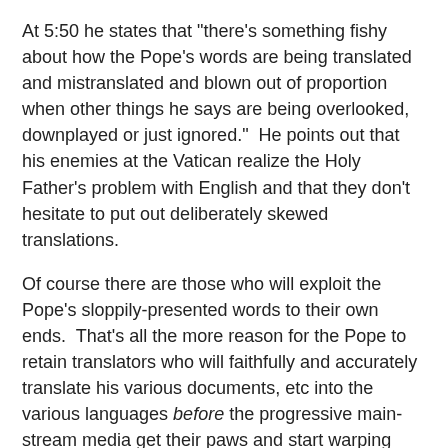At 5:50 he states that "there's something fishy about how the Pope's words are being translated and mistranslated and blown out of proportion when other things he says are being overlooked, downplayed or just ignored."  He points out that his enemies at the Vatican realize the Holy Father's problem with English and that they don't hesitate to put out deliberately skewed translations.
Of course there are those who will exploit the Pope's sloppily-presented words to their own ends.  That's all the more reason for the Pope to retain translators who will faithfully and accurately translate his various documents, etc into the various languages before the progressive main-stream media get their paws and start warping them to their hearts' content.  Yes there are indeed subversive elements at the Vatican.  I do have trouble believing that the Holy Father knows and trusts no one who will offer the necessary translation skills to the Holy Father.  For instance, is not Cardinal Burke still at the Vatican?
I cannot hold the Holy Father as being completely blameless however it is also not to be an entire control of the